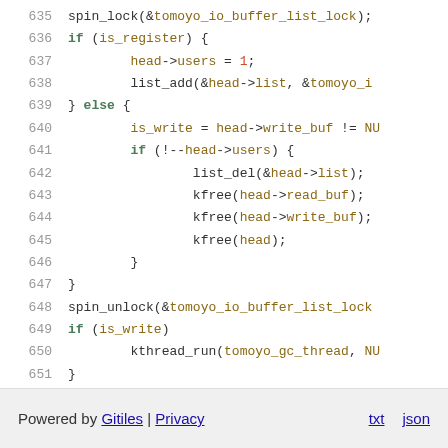635   spin_lock(&tomoyo_io_buffer_list_lock);
636   if (is_register) {
637       head->users = 1;
638       list_add(&head->list, &tomoyo_i
639   } else {
640       is_write = head->write_buf != NU
641       if (!--head->users) {
642           list_del(&head->list);
643           kfree(head->read_buf);
644           kfree(head->write_buf);
645           kfree(head);
646       }
647   }
648   spin_unlock(&tomoyo_io_buffer_lock
649   if (is_write)
650       kthread_run(tomoyo_gc_thread, NU
651 }
Powered by Gitiles | Privacy    txt  json